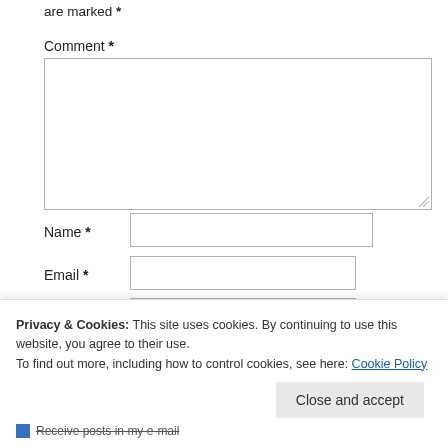are marked *
Comment *
Name *
Email *
Privacy & Cookies: This site uses cookies. By continuing to use this website, you agree to their use.
To find out more, including how to control cookies, see here: Cookie Policy
Close and accept
Receive posts in my e-mail